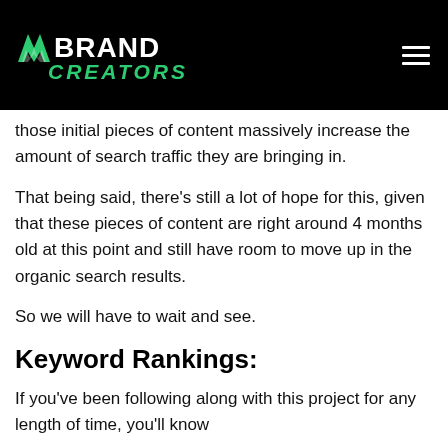BRAND CREATORS
those initial pieces of content massively increase the amount of search traffic they are bringing in.
That being said, there's still a lot of hope for this, given that these pieces of content are right around 4 months old at this point and still have room to move up in the organic search results.
So we will have to wait and see.
Keyword Rankings:
If you've been following along with this project for any length of time, you'll know